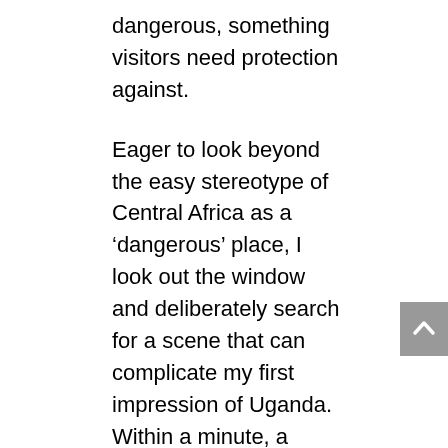dangerous, something visitors need protection against.
Eager to look beyond the easy stereotype of Central Africa as a ‘dangerous’ place, I look out the window and deliberately search for a scene that can complicate my first impression of Uganda. Within a minute, a group of uniformed schoolchildren walking on the left side of the road provide that complication, as they wave and cheer at our convoy. More groups of children are making their way home from school up ahead, and it quickly becomes clear that the children of Buhoma can react to an oncoming convoy of SUVs in one of three ways: Some wave and run towards us as they scream “yes!” or “eyyy!” Others turn to face the cars,